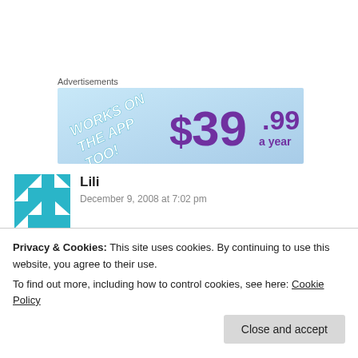Advertisements
[Figure (illustration): Advertisement banner with light blue background. Left side shows text 'WORKS ON THE APP TOO!' in white bold italic letters at an angle. Right side shows '$39.99 a year' in large purple stylized font.]
Lili
December 9, 2008 at 7:02 pm
[Figure (illustration): Avatar icon: teal/cyan geometric quilt-pattern square icon]
I do understand your objection to real diamonds and of course it is a matter of personal choice. The only point I made
Privacy & Cookies: This site uses cookies. By continuing to use this website, you agree to their use.
To find out more, including how to control cookies, see here: Cookie Policy
oneself. I interpret being true to myself